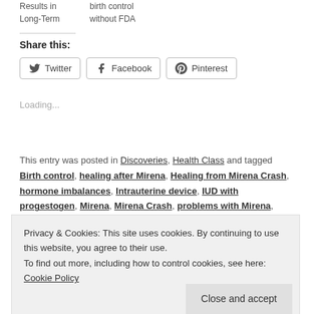Results in Long-Term
birth control without FDA
Share this:
Twitter  Facebook  Pinterest
Loading...
This entry was posted in Discoveries, Health Class and tagged Birth control, healing after Mirena, Healing from Mirena Crash, hormone imbalances, Intrauterine device, IUD with progestogen, Mirena, Mirena Crash, problems with Mirena, Recovering from
Privacy & Cookies: This site uses cookies. By continuing to use this website, you agree to their use.
To find out more, including how to control cookies, see here: Cookie Policy
Close and accept